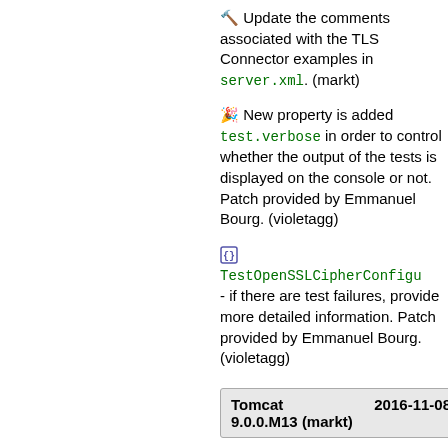🔨 Update the comments associated with the TLS Connector examples in server.xml. (markt)
🎉 New property is added test.verbose in order to control whether the output of the tests is displayed on the console or not. Patch provided by Emmanuel Bourg. (violetagg)
[icon] TestOpenSSLCipherConfigu - if there are test failures, provide more detailed information. Patch provided by Emmanuel Bourg. (violetagg)
| Tomcat | 2016-11-08 |
| --- | --- |
| 9.0.0.M13 (markt) |  |